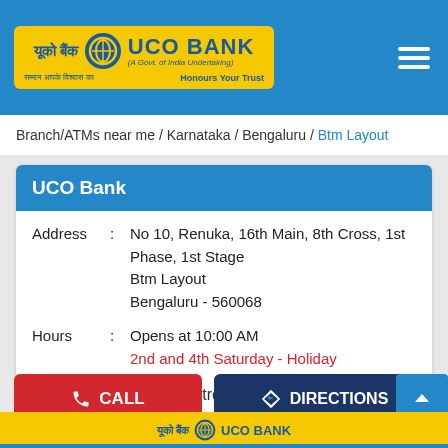[Figure (logo): UCO Bank logo with yellow background, Hindi and English text, on blue header bar]
Branch/ATMs near me / Karnataka / Bengaluru / Btm Layout
UCO Bank
Address : No 10, Renuka, 16th Main, 8th Cross, 1st Phase, 1st Stage Btm Layout Bengaluru - 560068
Hours : Opens at 10:00 AM 2nd and 4th Saturday - Holiday
Metropolitan
CALL
DIRECTIONS
[Figure (logo): UCO Bank footer logo on yellow background]